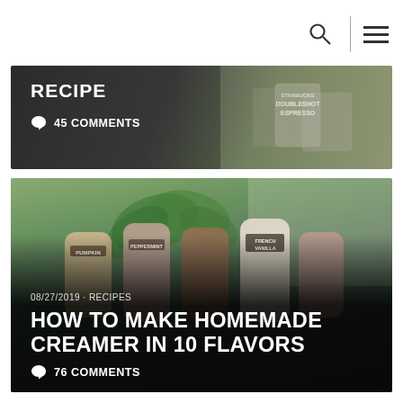[Figure (logo): Stylized S logo with red swoosh on hexagon badge]
[Figure (photo): Dark food photography card showing RECIPE tag with 45 COMMENTS, background shows coffee product bottles]
[Figure (photo): Food photography card showing multiple homemade creamer bottles in different flavors (Pumpkin, Peppermint, French Vanilla) with blurred green plant background, dated 08/27/2019 under RECIPES category, titled HOW TO MAKE HOMEMADE CREAMER IN 10 FLAVORS with 76 COMMENTS]